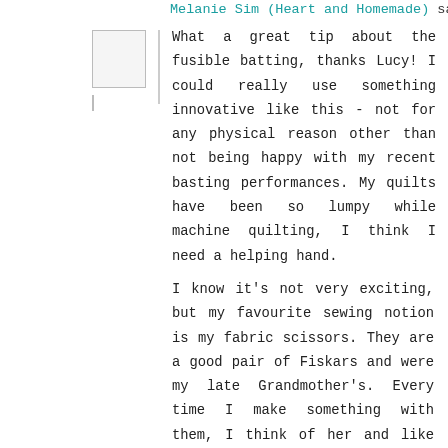Melanie Sim (Heart and Homemade) said...
What a great tip about the fusible batting, thanks Lucy! I could really use something innovative like this - not for any physical reason other than not being happy with my recent basting performances. My quilts have been so lumpy while machine quilting, I think I need a helping hand.
I know it's not very exciting, but my favourite sewing notion is my fabric scissors. They are a good pair of Fiskars and were my late Grandmother's. Every time I make something with them, I think of her and like to imagine that I'm doing her proud.